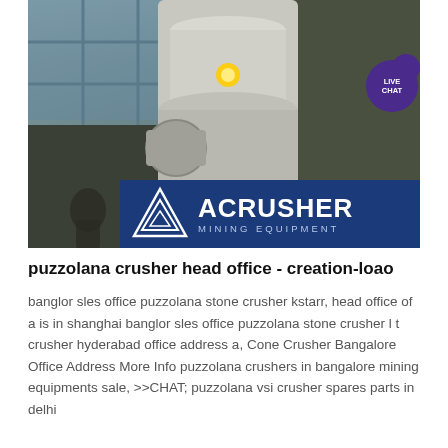[Figure (photo): Industrial mining machinery (crusher/mill equipment) in a factory setting with workers, overlaid with ACrusher Mining Equipment logo at bottom right]
puzzolana crusher head office - creation-loao
banglor sles office puzzolana stone crusher kstarr, head office of a is in shanghai banglor sles office puzzolana stone crusher l t crusher hyderabad office address a, Cone Crusher Bangalore Office Address More Info puzzolana crushers in bangalore mining equipments sale, >>CHAT; puzzolana vsi crusher spares parts in delhi